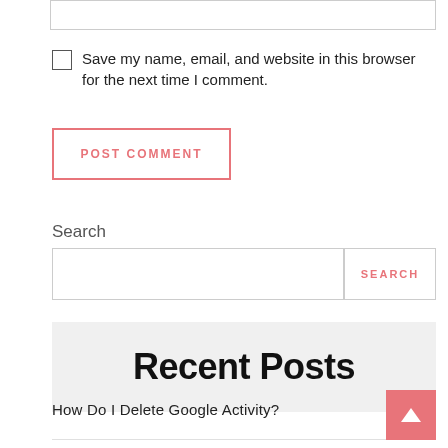Save my name, email, and website in this browser for the next time I comment.
POST COMMENT
Search
SEARCH
Recent Posts
How Do I Delete Google Activity?